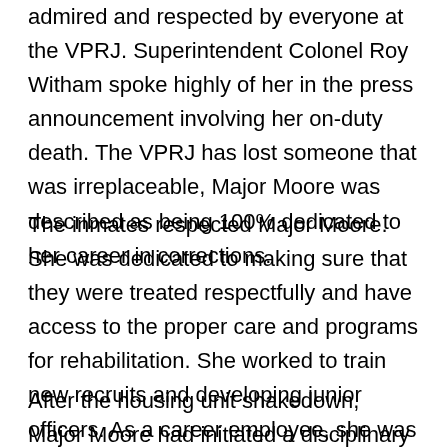admired and respected by everyone at the VPRJ. Superintendent Colonel Roy Witham spoke highly of her in the press announcement involving her on-duty death. The VPRJ has lost someone that was irreplaceable, Major Moore was described as being 100% dedicated to her career in corrections.
The inmates respected Major Moore. She was dedicated to making sure that they were treated respectfully and have access to the proper care and programs for rehabilitation. She worked to train new recruits and developing junior officers. As a career employee, she was invaluable to both her coworkers and the VPRJ.
After the housing unit shakedown, Major Moore had initiated a disciplinary discussion with a group of